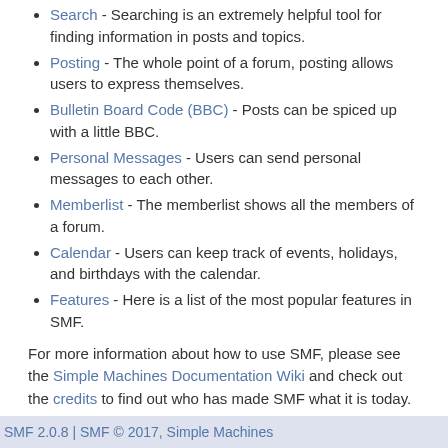Search - Searching is an extremely helpful tool for finding information in posts and topics.
Posting - The whole point of a forum, posting allows users to express themselves.
Bulletin Board Code (BBC) - Posts can be spiced up with a little BBC.
Personal Messages - Users can send personal messages to each other.
Memberlist - The memberlist shows all the members of a forum.
Calendar - Users can keep track of events, holidays, and birthdays with the calendar.
Features - Here is a list of the most popular features in SMF.
For more information about how to use SMF, please see the Simple Machines Documentation Wiki and check out the credits to find out who has made SMF what it is today.
SMF 2.0.8 | SMF © 2017, Simple Machines
XHTML
RSS
WAP2

Page created in 0.217 seconds with 8 queries.